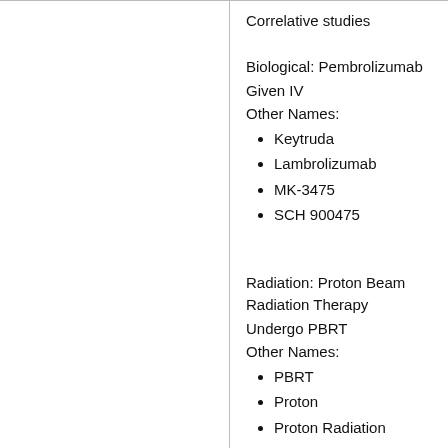Correlative studies
Biological: Pembrolizumab
Given IV
Other Names:
Keytruda
Lambrolizumab
MK-3475
SCH 900475
Radiation: Proton Beam Radiation Therapy
Undergo PBRT
Other Names:
PBRT
Proton
Proton Radiation